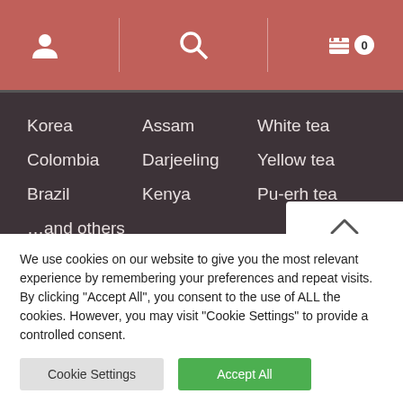User icon | Search icon | Cart 0
Korea
Assam
White tea
Colombia
Darjeeling
Yellow tea
Brazil
Kenya
Pu-erh tea
...and others
[Figure (logo): Payment method logos: Stripe, PayPal, Apple Pay, arrow, Mastercard, VISA, American Express]
We use cookies on our website to give you the most relevant experience by remembering your preferences and repeat visits. By clicking "Accept All", you consent to the use of ALL the cookies. However, you may visit "Cookie Settings" to provide a controlled consent.
Cookie Settings | Accept All